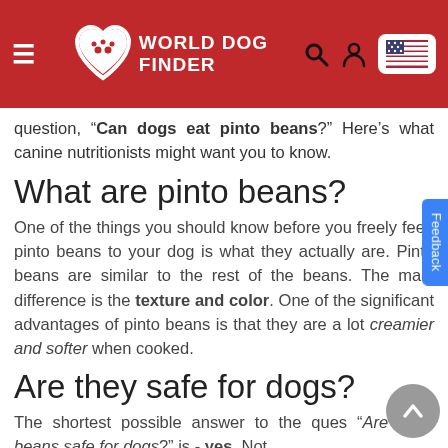World Dog Finder
question, "Can dogs eat pinto beans?" Here's what canine nutritionists might want you to know.
What are pinto beans?
One of the things you should know before you freely feed pinto beans to your dog is what they actually are. Pinto beans are similar to the rest of the beans. The main difference is the texture and color. One of the significant advantages of pinto beans is that they are a lot creamier and softer when cooked.
Are they safe for dogs?
The shortest possible answer to the question "Are pinto beans safe for dogs?" is - yes. Not